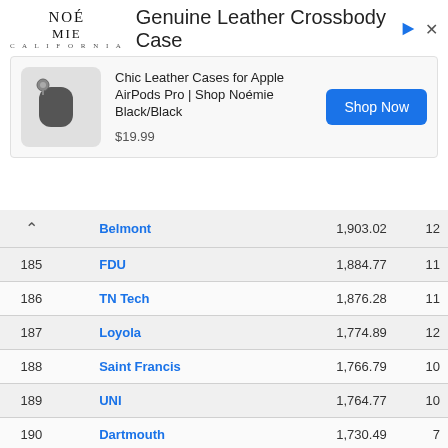[Figure (screenshot): Advertisement banner for Noemie Genuine Leather Crossbody Case showing product image, price $19.99, and Shop Now button]
| Rank |  | Team | Score | Count |
| --- | --- | --- | --- | --- |
| ^ |  | Belmont | 1,903.02 | 12 |
| 185 |  | FDU | 1,884.77 | 11 |
| 186 |  | TN Tech | 1,876.28 | 11 |
| 187 |  | Loyola | 1,774.89 | 12 |
| 188 |  | Saint Francis | 1,766.79 | 10 |
| 189 |  | UNI | 1,764.77 | 10 |
| 190 |  | Dartmouth | 1,730.49 | 7 |
| 191 |  | Youngstown | 1,729.96 | 10 |
| 192 |  | Marshall | 1,650.51 | 9 |
| 193 |  | Eastern Washington | 1,567.8 | 9 |
| 194 |  | Austin Peay | 1,560.57 | 11 |
| 195 |  | Siena | 1,544.24 | 11 |